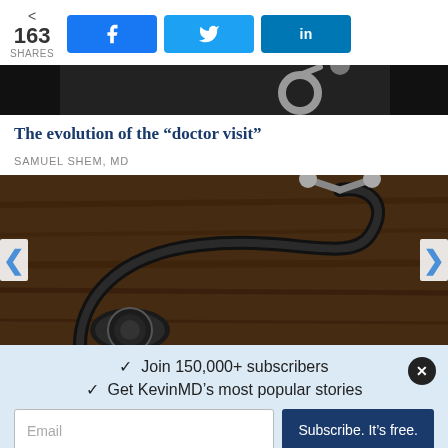163 SHARES | Facebook | Twitter | LinkedIn
[Figure (photo): Partial top image showing dark background with what appears to be a stethoscope or medical device]
The evolution of the “doctor visit”
SAMUEL SHEM, MD
[Figure (photo): Stethoscope resting on a wooden surface, dark moody photography]
✓ Join 150,000+ subscribers
✓ Get KevinMD’s most popular stories